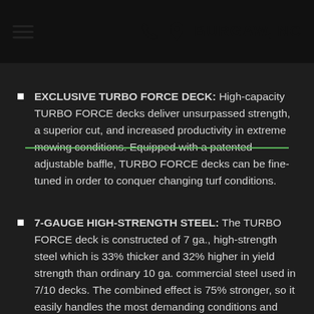BURGAW, NC
EXCLUSIVE TURBO FORCE DECK: High-capacity TURBO FORCE decks deliver unsurpassed strength, a superior cut, and increased productivity in extreme mowing conditions. Equipped with a patented adjustable baffle, TURBO FORCE decks can be fine-tuned in order to conquer changing turf conditions.
7-GAUGE HIGH-STRENGTH STEEL: The TURBO FORCE deck is constructed of 7 ga., high-strength steel which is 33% thicker and 32% higher in yield strength than ordinary 10 ga. commercial steel used in 7/10 decks. The combined effect is 75% stronger, so it easily handles the most demanding conditions and resists damage from impacts and abrasion.
DELUXE HANDCRAFTED SEAT WITH ARM...